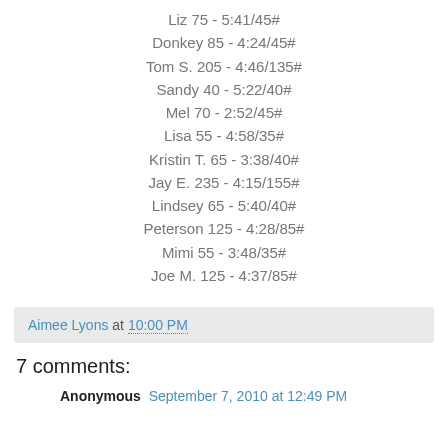Liz 75 - 5:41/45#
Donkey 85 - 4:24/45#
Tom S. 205 - 4:46/135#
Sandy 40 - 5:22/40#
Mel 70 - 2:52/45#
Lisa 55 - 4:58/35#
Kristin T. 65 - 3:38/40#
Jay E. 235 - 4:15/155#
Lindsey 65 - 5:40/40#
Peterson 125 - 4:28/85#
Mimi 55 - 3:48/35#
Joe M. 125 - 4:37/85#
Aimee Lyons at 10:00 PM
7 comments:
Anonymous  September 7, 2010 at 12:49 PM